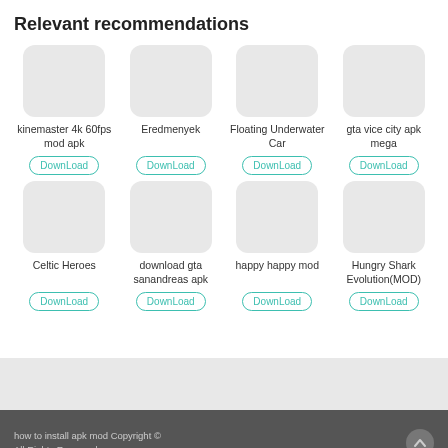Relevant recommendations
[Figure (screenshot): Grid of 8 app recommendation cards, each with a gray rounded icon placeholder, app name text, and a teal Download button. Row 1: kinemaster 4k 60fps mod apk, Eredmenyek, Floating Underwater Car, gta vice city apk mega. Row 2: Celtic Heroes, download gta sanandreas apk, happy happy mod, Hungry Shark Evolution(MOD).]
how to install apk mod Copyright © All Rights Reserved